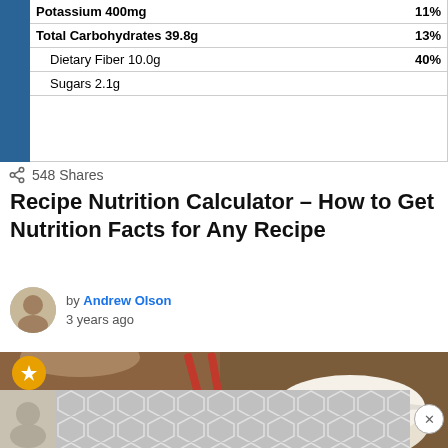[Figure (table-as-image): Partial nutrition facts label showing Potassium, Total Carbohydrates, Dietary Fiber, and Sugars rows with amounts and daily values]
548 Shares
Recipe Nutrition Calculator – How to Get Nutrition Facts for Any Recipe
by Andrew Olson
3 years ago
[Figure (photo): Food photo showing a bowl of rice or grain dish with vegetables and red chopsticks, with a sauce bottle on the left side. Orange BuzzFeed badge in top-left corner.]
[Figure (other): Advertisement banner with geometric hexagonal pattern in grey tones and a close (x) button]